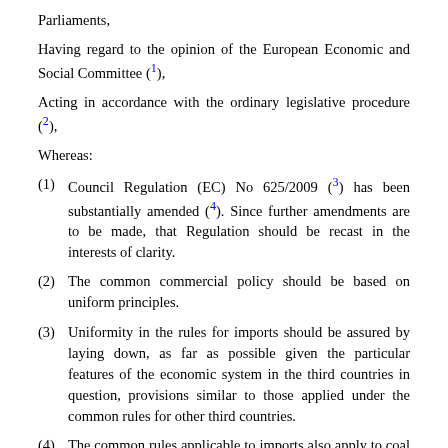Parliaments,
Having regard to the opinion of the European Economic and Social Committee (1),
Acting in accordance with the ordinary legislative procedure (2),
Whereas:
(1) Council Regulation (EC) No 625/2009 (3) has been substantially amended (4). Since further amendments are to be made, that Regulation should be recast in the interests of clarity.
(2) The common commercial policy should be based on uniform principles.
(3) Uniformity in the rules for imports should be assured by laying down, as far as possible given the particular features of the economic system in the third countries in question, provisions similar to those applied under the common rules for other third countries.
(4) The common rules applicable to imports also apply to coal and steel products, without prejudice to any measures implementing an agreement relating specifically to such products.